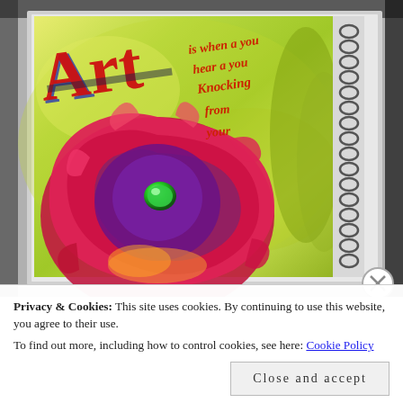[Figure (illustration): A colorful art journal/sketchbook cover featuring a large painted red and purple poppy flower with a green gem center, on a yellow-green background. Large stylized red 'Art' text at top left, with calligraphic red text reading 'is when a you hear a you Knocking from your'. The book has a spiral binding on the right side. The book is photographed against a gray background with dark edges.]
Privacy & Cookies: This site uses cookies. By continuing to use this website, you agree to their use.
To find out more, including how to control cookies, see here: Cookie Policy
Close and accept